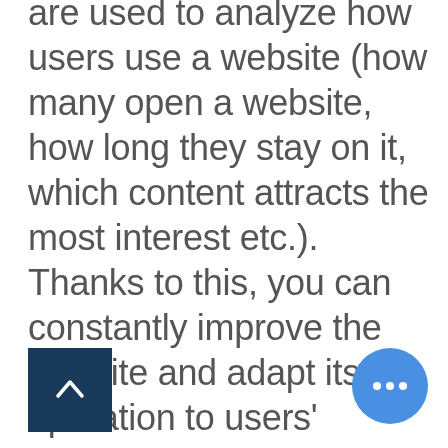are used to analyze how users use a website (how many open a website, how long they stay on it, which content attracts the most interest etc.). Thanks to this, you can constantly improve the website and adapt its operation to users' preferences. We use Google tools such as Google Analytics to track activity and create statistics; importantly, many cookies are anonymous – without additional information, we are not able to identify your identity on their basis.